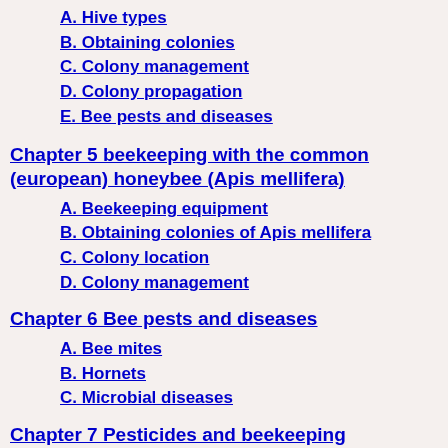A. Hive types
B. Obtaining colonies
C. Colony management
D. Colony propagation
E. Bee pests and diseases
Chapter 5 beekeeping with the common (european) honeybee (Apis mellifera)
A. Beekeeping equipment
B. Obtaining colonies of Apis mellifera
C. Colony location
D. Colony management
Chapter 6 Bee pests and diseases
A. Bee mites
B. Hornets
C. Microbial diseases
Chapter 7 Pesticides and beekeeping
A. Bee-poisoning symptoms
B. Relative toxicity of pesticides